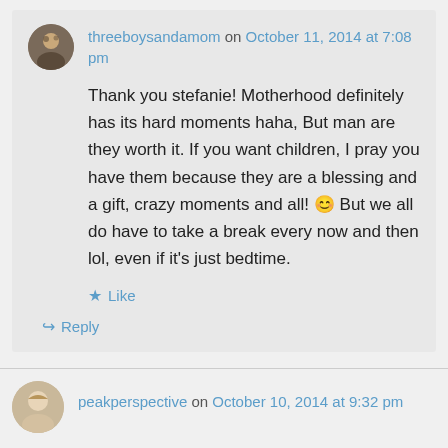threeboysandamom on October 11, 2014 at 7:08 pm
Thank you stefanie! Motherhood definitely has its hard moments haha, But man are they worth it. If you want children, I pray you have them because they are a blessing and a gift, crazy moments and all! 😊 But we all do have to take a break every now and then lol, even if it's just bedtime.
Like
Reply
peakperspective on October 10, 2014 at 9:32 pm